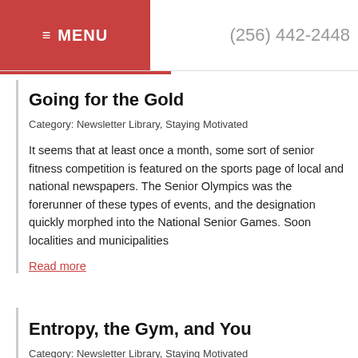≡ MENU  (256) 442-2448
Going for the Gold
Category: Newsletter Library, Staying Motivated
It seems that at least once a month, some sort of senior fitness competition is featured on the sports page of local and national newspapers. The Senior Olympics was the forerunner of these types of events, and the designation quickly morphed into the National Senior Games. Soon localities and municipalities
Read more
Entropy, the Gym, and You
Category: Newsletter Library, Staying Motivated
Let's say you've been taking some time off from the gym. Maybe you reached the end of your 12-week training